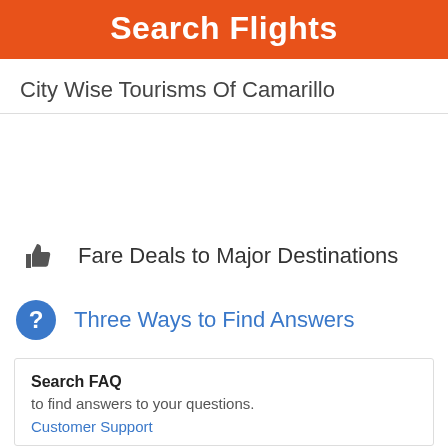Search Flights
City Wise Tourisms Of Camarillo
Fare Deals to Major Destinations
Three Ways to Find Answers
Search FAQ
to find answers to your questions.
Customer Support